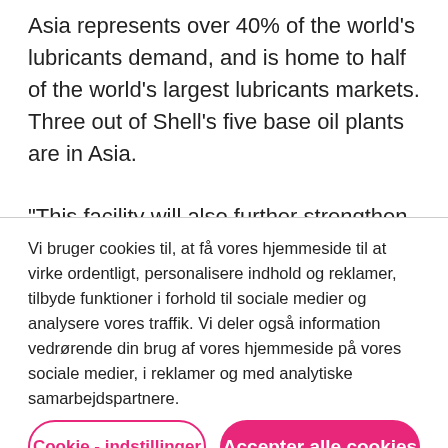Asia represents over 40% of the world's lubricants demand, and is home to half of the world's largest lubricants markets. Three out of Shell's five base oil plants are in Asia.

“This facility will also further strengthen our
Vi bruger cookies til, at få vores hjemmeside til at virke ordentligt, personalisere indhold og reklamer, tilbyde funktioner i forhold til sociale medier og analysere vores traffik. Vi deler også information vedrørende din brug af vores hjemmeside på vores sociale medier, i reklamer og med analytiske samarbejdspartnere.
Cookie - indstillinger
Accepter alle cookies